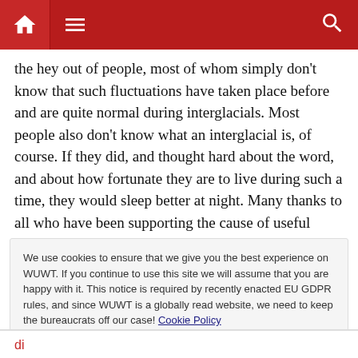Navigation bar with home, menu, and search icons
the hey out of people, most of whom simply don't know that such fluctuations have taken place before and are quite normal during interglacials. Most people also don't know what an interglacial is, of course. If they did, and thought hard about the word, and about how fortunate they are to live during such a time, they would sleep better at night. Many thanks to all who have been supporting the cause of useful information versus the cause of terror, useful information being here: http://amzn.to/xam4iF
We use cookies to ensure that we give you the best experience on WUWT. If you continue to use this site we will assume that you are happy with it. This notice is required by recently enacted EU GDPR rules, and since WUWT is a globally read website, we need to keep the bureaucrats off our case! Cookie Policy
Close and accept